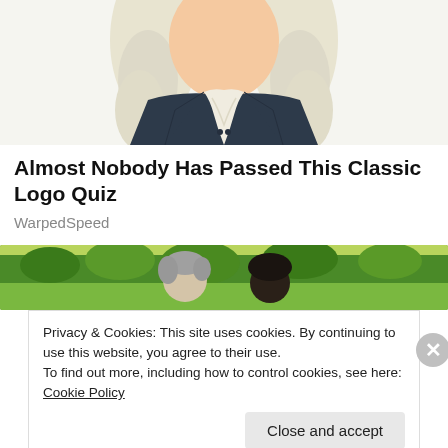[Figure (illustration): Illustrated portrait of a historical figure in colonial-era clothing with white wig, dark coat and white cravat, cropped showing head and upper torso on white background.]
Almost Nobody Has Passed This Classic Logo Quiz
WarpedSpeed
[Figure (photo): Photo showing two people from behind, one with grey hair, looking out over a green countryside landscape with trees.]
Privacy & Cookies: This site uses cookies. By continuing to use this website, you agree to their use.
To find out more, including how to control cookies, see here: Cookie Policy
Close and accept